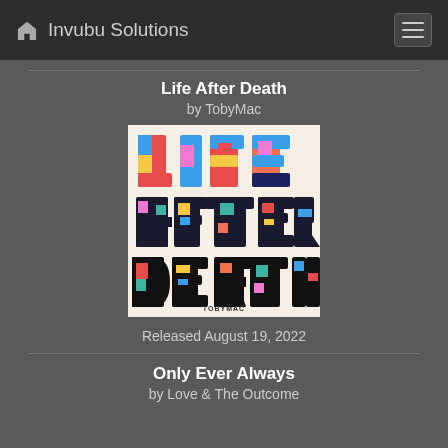Invubu Solutions
Life After Death
by TobyMac
[Figure (illustration): Album cover for 'Life After Death' by TobyMac. Cream/off-white background with large colorful typographic text. 'LIFE' in multicolor letters with pink, blue, yellow, orange fills. 'AFTER' in dark letters with pink and teal fills. 'DEATH' in bold black letters with colorful graphic elements inside. 'TOBYMAC' in small black text at the bottom center.]
Released August 19, 2022
Only Ever Always
by Love & The Outcome